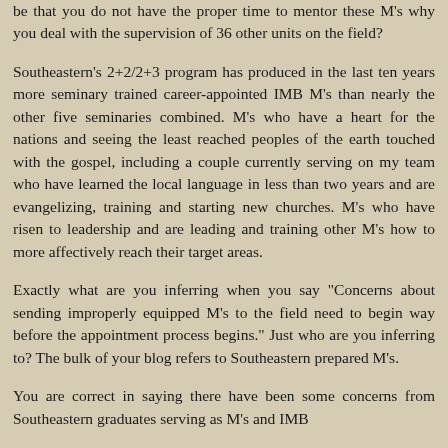be that you do not have the proper time to mentor these M's why you deal with the supervision of 36 other units on the field?
Southeastern's 2+2/2+3 program has produced in the last ten years more seminary trained career-appointed IMB M's than nearly the other five seminaries combined. M's who have a heart for the nations and seeing the least reached peoples of the earth touched with the gospel, including a couple currently serving on my team who have learned the local language in less than two years and are evangelizing, training and starting new churches. M's who have risen to leadership and are leading and training other M's how to more affectively reach their target areas.
Exactly what are you inferring when you say "Concerns about sending improperly equipped M's to the field need to begin way before the appointment process begins." Just who are you inferring to? The bulk of your blog refers to Southeastern prepared M's.
You are correct in saying there have been some concerns from Southeastern graduates serving as M's and IMB